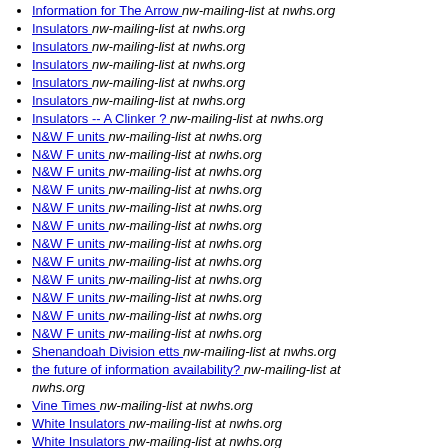Information for The Arrow  nw-mailing-list at nwhs.org
Insulators  nw-mailing-list at nwhs.org
Insulators  nw-mailing-list at nwhs.org
Insulators  nw-mailing-list at nwhs.org
Insulators  nw-mailing-list at nwhs.org
Insulators  nw-mailing-list at nwhs.org
Insulators -- A Clinker ?  nw-mailing-list at nwhs.org
N&W F units  nw-mailing-list at nwhs.org
N&W F units  nw-mailing-list at nwhs.org
N&W F units  nw-mailing-list at nwhs.org
N&W F units  nw-mailing-list at nwhs.org
N&W F units  nw-mailing-list at nwhs.org
N&W F units  nw-mailing-list at nwhs.org
N&W F units  nw-mailing-list at nwhs.org
N&W F units  nw-mailing-list at nwhs.org
N&W F units  nw-mailing-list at nwhs.org
N&W F units  nw-mailing-list at nwhs.org
N&W F units  nw-mailing-list at nwhs.org
N&W F units  nw-mailing-list at nwhs.org
N&W F units  nw-mailing-list at nwhs.org
Shenandoah Division etts  nw-mailing-list at nwhs.org
the future of information availability?  nw-mailing-list at nwhs.org
Vine Times  nw-mailing-list at nwhs.org
White Insulators  nw-mailing-list at nwhs.org
White Insulators  nw-mailing-list at nwhs.org